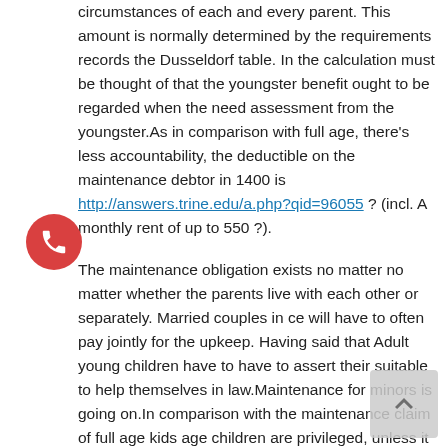circumstances of each and every parent. This amount is normally determined by the requirements records the Dusseldorf table. In the calculation must be thought of that the youngster benefit ought to be regarded when the need assessment from the youngster.As in comparison with full age, there's less accountability, the deductible on the maintenance debtor in 1400 is http://answers.trine.edu/a.php?qid=96055 ? (incl. A monthly rent of up to 550 ?).
The maintenance obligation exists no matter no matter whether the parents live with each other or separately. Married couples in ce will have to often pay jointly for the upkeep. Having said that Adult young children have to have to assert their suitable to help themselves in law.Maintenance for minors is going on.In comparison with the maintenance claim of full age kids age children are privileged, unless it concerns privileged legal age. This implies that also own saved-assets should really be implemented to meet the critical requires and can be invoked against the child moral wrongdoing.
Adult children are cozy. § 1603 Section 2 S.two BGB privileged for anyone who is at the least 21 years old, are nonetheless inside a general education, who reside at property with parents o